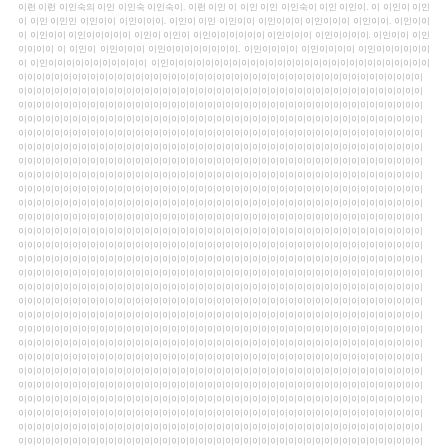[Korean text block - body paragraph in light gray]
이인   이인숙 작가
이인숙 작가작가
I think the role of art is to re-examine ordinary daily life. We sometimes find clues to understand the world while looking deeply at trivial objects and the sounds. Ordinary people living a busy life cannot afford to oberve them and I think it's the artists who takes over the role. Rhee In Sook's work is a genre called 'still life painting' that embodies objects such as flowers, flower pots or vases, and bottles. Rather than aiming for the original genre, it is a metaphor of still life...